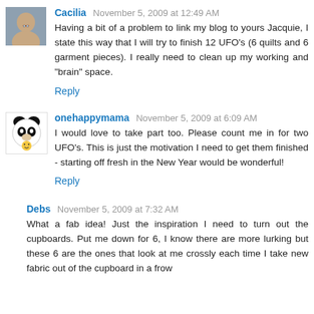Cacilia November 5, 2009 at 12:49 AM
Having a bit of a problem to link my blog to yours Jacquie, I state this way that I will try to finish 12 UFO's (6 quilts and 6 garment pieces). I really need to clean up my working and "brain" space.
Reply
onehappymama November 5, 2009 at 6:09 AM
I would love to take part too. Please count me in for two UFO's. This is just the motivation I need to get them finished - starting off fresh in the New Year would be wonderful!
Reply
Debs November 5, 2009 at 7:32 AM
What a fab idea! Just the inspiration I need to turn out the cupboards. Put me down for 6, I know there are more lurking but these 6 are the ones that look at me crossly each time I take new fabric out of the cupboard in a frown